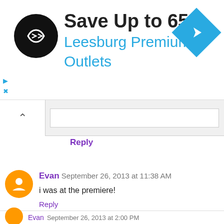[Figure (screenshot): Advertisement banner: black circular logo with double arrow icon, text 'Save Up to 65%' in dark, 'Leesburg Premium Outlets' in blue, and a blue diamond navigation arrow on the right. Small play and X markers bottom-left.]
Reply
Evan  September 26, 2013 at 11:38 AM
i was at the premiere!
Reply
▾  Replies
Alex Withrow  September 26, 2013 at 12:49 PM
Me too!
Evan  September 26, 2013 at 2:00 PM